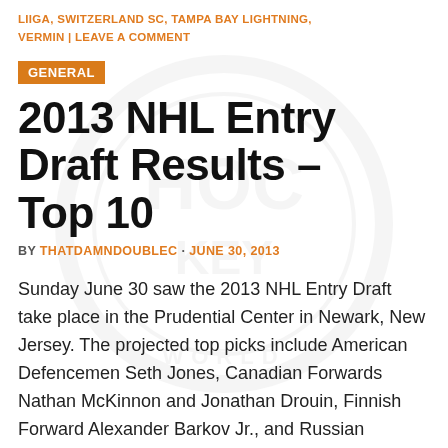LIIGA, SWITZERLAND SC, TAMPA BAY LIGHTNING, VERMIN | LEAVE A COMMENT
GENERAL
2013 NHL Entry Draft Results – Top 10
BY THATDAMNDOUBLEC · JUNE 30, 2013
Sunday June 30 saw the 2013 NHL Entry Draft take place in the Prudential Center in Newark, New Jersey. The projected top picks include American Defencemen Seth Jones, Canadian Forwards Nathan McKinnon and Jonathan Drouin, Finnish Forward Alexander Barkov Jr., and Russian Forward Valeri Nichuskin.